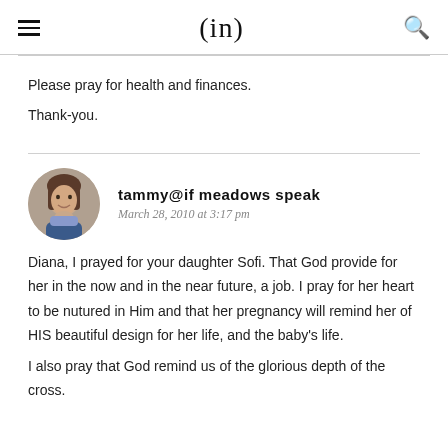(in)
Please pray for health and finances.
Thank-you.
tammy@if meadows speak
March 28, 2010 at 3:17 pm
Diana, I prayed for your daughter Sofi. That God provide for her in the now and in the near future, a job. I pray for her heart to be nutured in Him and that her pregnancy will remind her of HIS beautiful design for her life, and the baby's life.
I also pray that God remind us of the glorious depth of the cross.